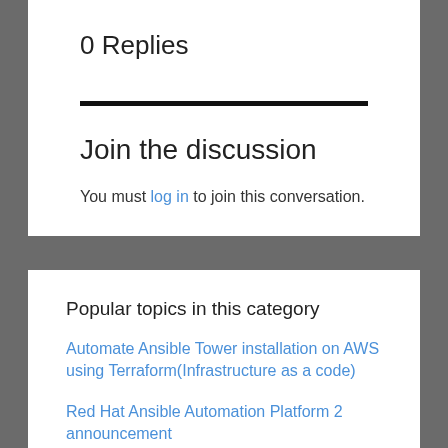0 Replies
Join the discussion
You must log in to join this conversation.
Popular topics in this category
Automate Ansible Tower installation on AWS using Terraform(Infrastructure as a code)
Red Hat Ansible Automation Platform 2 announcement